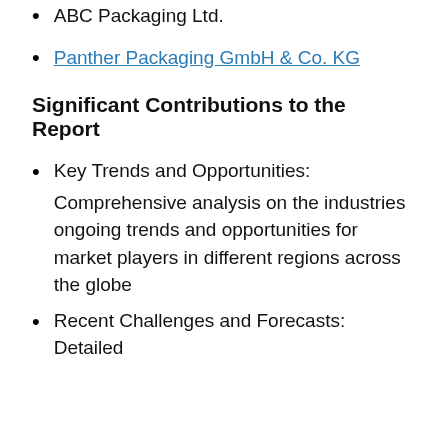ABC Packaging Ltd.
Panther Packaging GmbH & Co. KG
Significant Contributions to the Report
Key Trends and Opportunities: Comprehensive analysis on the industries ongoing trends and opportunities for market players in different regions across the globe
Recent Challenges and Forecasts: Detailed